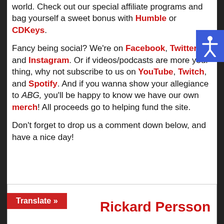world. Check out our special affiliate programs and bag yourself a sweet bonus with Humble or CDKeys.
Fancy being social? We're on Facebook, Twitter, and Instagram. Or if videos/podcasts are more your thing, why not subscribe to us on YouTube, Twitch, and Spotify. And if you wanna show your allegiance to ABG, you'll be happy to know we have our own merch! All proceeds go to helping fund the site.
Don't forget to drop us a comment down below, and have a nice day!
Rickard Persson